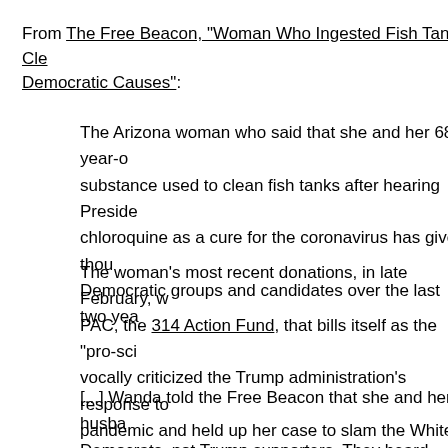From The Free Beacon, "Woman Who Ingested Fish Tank Cleaner Donated to Democratic Causes":
The Arizona woman who said that she and her 68-year-old husband ingested a substance used to clean fish tanks after hearing President Trump tout hydroxychloroquine as a cure for the coronavirus has given thousands of dollars to Democratic groups and candidates over the last two years.
The woman's most recent donations, in late February, were to a Democratic science PAC, the 314 Action Fund, that bills itself as the "pro-science resistance" and has vocally criticized the Trump administration's response to the coronavirus pandemic and held up her case to slam the White House.
[...] Wanda told the Free Beacon that she and her husband are lifelong Democrats, not Trump supporters. They heard about the possible benefits of chloroquine, an antimalarial drug, in news reports. She decided "in the moment" to try taking it, but reached for a fish tank cleaner that contains chloroquine phosphate, a different and deadly f